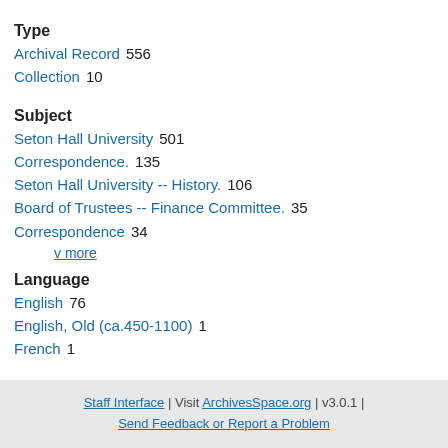Type
Archival Record   556
Collection   10
Subject
Seton Hall University   501
Correspondence.   135
Seton Hall University -- History.   106
Board of Trustees -- Finance Committee.   35
Correspondence   34
v more
Language
English   76
English, Old (ca.450-1100)   1
French   1
Staff Interface | Visit ArchivesSpace.org | v3.0.1 | Send Feedback or Report a Problem